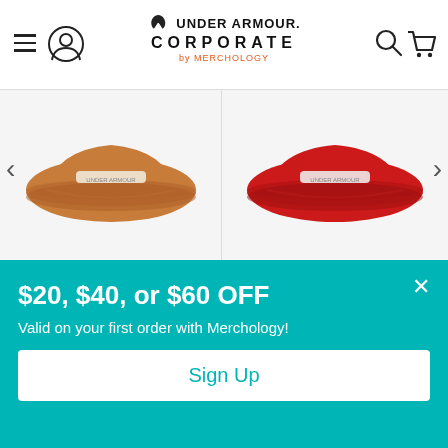[Figure (screenshot): Under Armour Corporate by Merchology website header with hamburger menu, user icon, logo, search icon, and cart icon]
[Figure (photo): Legacy Copper Slub/Black Five-panel cap with brown/tan brim, shown from the back]
Legacy Copper Slub/Black Five-...
MSRP: $23.99
[Figure (photo): Legacy White/Red/Royal Mid-Pro cap shown from the back, red colored]
Legacy White/Red/Royal Mid-Pro...
MSRP: $23.49
$20, $40, or $60 OFF
Valid on your first order with Merchology!
Sign Up